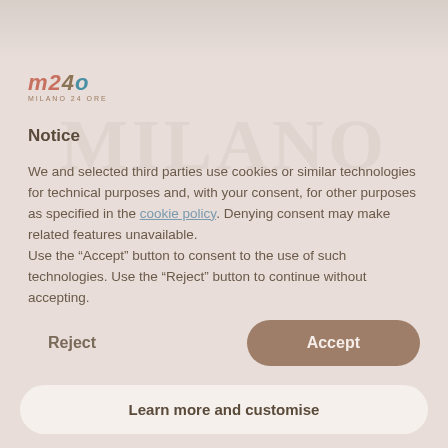[Figure (logo): m24o Milano 24 Ore logo with stylized text in terracotta and teal colors]
Notice
We and selected third parties use cookies or similar technologies for technical purposes and, with your consent, for other purposes as specified in the cookie policy. Denying consent may make related features unavailable.
Use the “Accept” button to consent to the use of such technologies. Use the “Reject” button to continue without accepting.
Reject
Accept
Learn more and customise